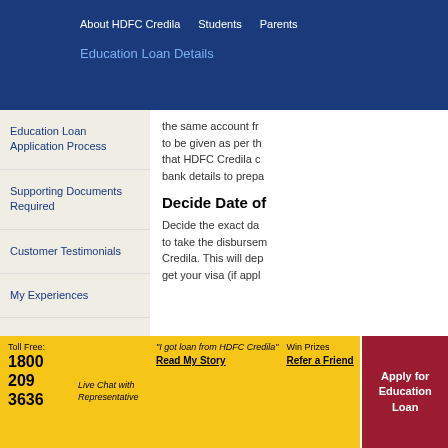About HDFC Credila   Students   Parents
Education Loan Details
Education Loan Application Process
Supporting Documents Required
Customer Testimonials
My Experiences
the same account from to be given as per th that HDFC Credila c bank details to prepa
Decide Date of
Decide the exact da to take the disbursem Credila. This will dep get your visa (if appl
Toll Free:
1800
209
3636
Live Chat with Representative
"I got loan from HDFC Credila" Read My Story
Win Prizes Refer a Friend
Apply for Education Loan